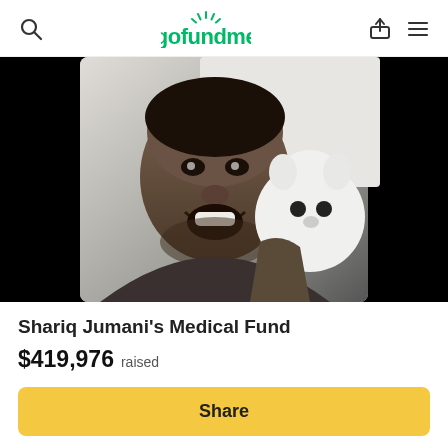gofundme
[Figure (photo): Black and white photo of a smiling young man holding a white stuffed animal/plush toy up to his cheek, displayed on a dark/black background.]
Shariq Jumani's Medical Fund
$419,976 raised
Share